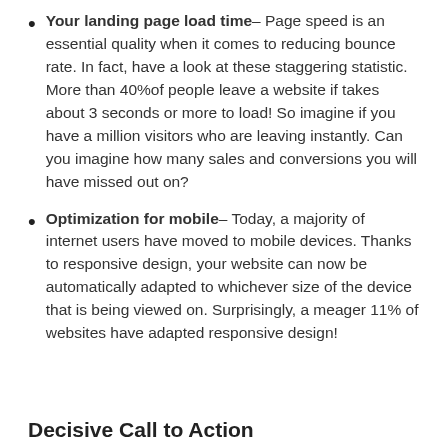Your landing page load time– Page speed is an essential quality when it comes to reducing bounce rate. In fact, have a look at these staggering statistic. More than 40%of people leave a website if takes about 3 seconds or more to load! So imagine if you have a million visitors who are leaving instantly. Can you imagine how many sales and conversions you will have missed out on?
Optimization for mobile– Today, a majority of internet users have moved to mobile devices. Thanks to responsive design, your website can now be automatically adapted to whichever size of the device that is being viewed on. Surprisingly, a meager 11% of websites have adapted responsive design!
Decisive Call to Action